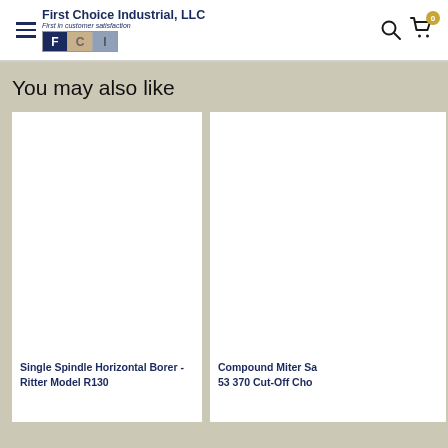First Choice Industrial, LLC — First in customer satisfaction
You may also like
[Figure (photo): White product image area for Single Spindle Horizontal Borer - Ritter Model R130]
Single Spindle Horizontal Borer - Ritter Model R130
[Figure (photo): White product image area for Compound Miter Saw 53 370 Cut-Off Cho (partially visible)]
Compound Miter Sa 53 370 Cut-Off Cho